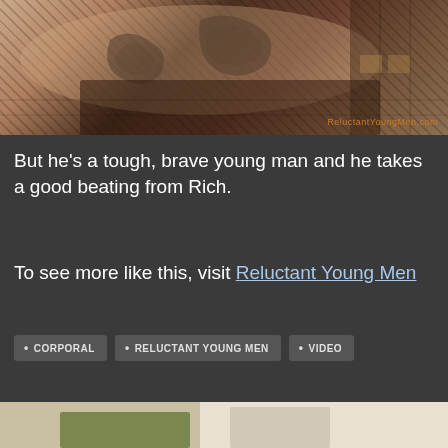[Figure (photo): Photo of a person with tattoos leaning forward over what appears to be a wooden bench or furniture, set against a dark wooden background. Watermark reads ReluctantYoungMen.com in bottom right corner.]
But he's a tough, brave young man and he takes a good beating from Rich.
To see more like this, visit Reluctant Young Men
CORPORAL
RELUCTANT YOUNG MEN
VIDEO
[Figure (photo): Partial photo at the bottom of the page showing parts of two people.]